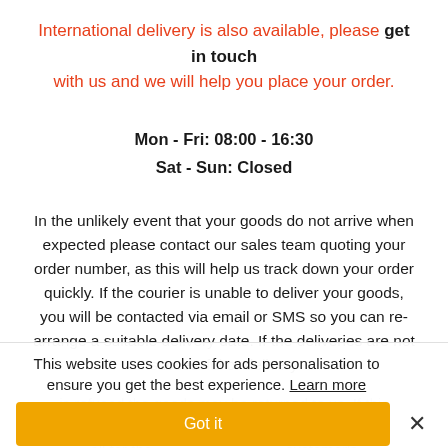International delivery is also available, please get in touch with us and we will help you place your order.
Mon - Fri: 08:00 - 16:30
Sat - Sun: Closed
In the unlikely event that your goods do not arrive when expected please contact our sales team quoting your order number, as this will help us track down your order quickly. If the courier is unable to deliver your goods, you will be contacted via email or SMS so you can re-arrange a suitable delivery date. If the deliveries are not successful or delivery is refused the goods may be returned to us. If this happens all for the ... customer's expense even if the original delivery was free.
This website uses cookies for ads personalisation to ensure you get the best experience. Learn more
Got it